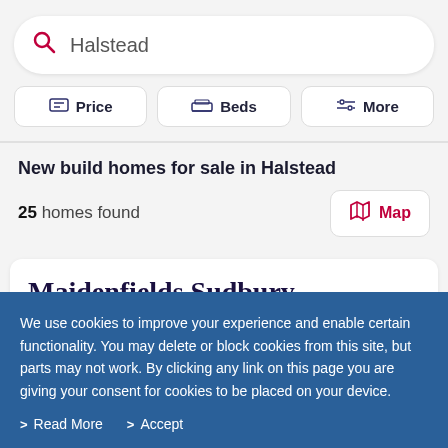Halstead
Price | Beds | More
New build homes for sale in Halstead
25 homes found
Map
Maidenfields Sudbury
We use cookies to improve your experience and enable certain functionality. You may delete or block cookies from this site, but parts may not work. By clicking any link on this page you are giving your consent for cookies to be placed on your device.
Read More | Accept